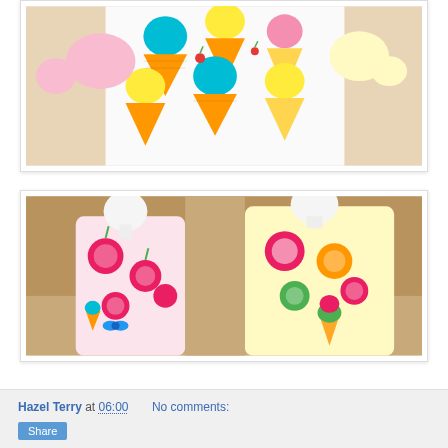[Figure (photo): A dress with colorful ice cream cone print on a mannequin, white background with yellow, blue, orange and pink ice cream cones pattern.]
[Figure (photo): Two mannequins wearing colorful dresses with fruit and ice cream prints — one with pink cherry/apple pattern, another with colorful tropical fruit pattern.]
Hazel Terry at 06:00   No comments:
Share